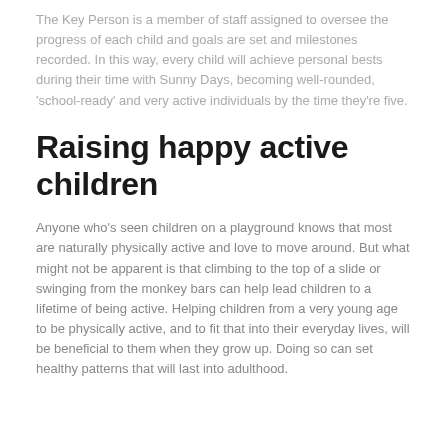The Key Person is a member of staff assigned to oversee the progress of each child and goals are set and milestones recorded. In this way, every child will achieve personal bests during their time with Sunny Days, becoming well-rounded, 'school-ready' and very active individuals by the time they're five.
Raising happy active children
Anyone who's seen children on a playground knows that most are naturally physically active and love to move around. But what might not be apparent is that climbing to the top of a slide or swinging from the monkey bars can help lead children to a lifetime of being active. Helping children from a very young age to be physically active, and to fit that into their everyday lives, will be beneficial to them when they grow up. Doing so can set healthy patterns that will last into adulthood.